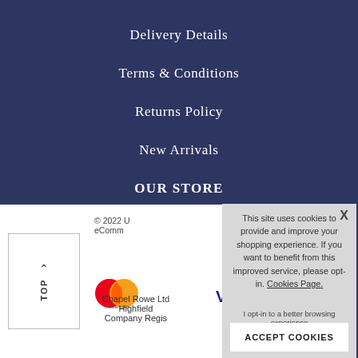Delivery Details
Terms & Conditions
Returns Policy
New Arrivals
OUR STORE
Contact Us
© 2022 U... eComm...
Chapel Rowe Ltd
Highfield
Company Regis...
This site uses cookies to provide and improve your shopping experience. If you want to benefit from this improved service, please opt-in. Cookies Page.
I opt-in to a better browsing experience
ACCEPT COOKIES